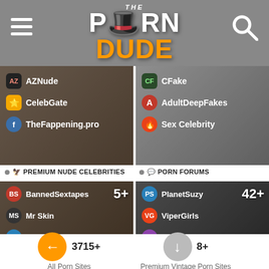The Porn Dude
[Figure (screenshot): Left panel showing AZNude, CelebGate, TheFappening.pro site links over a blurred background image]
[Figure (screenshot): Right panel showing CFake, AdultDeepFakes, Sex Celebrity site links over a blurred face background]
PREMIUM NUDE CELEBRITIES
PORN FORUMS
[Figure (screenshot): Left panel 5+ showing BannedSextapes, Mr Skin, Visit Celeb site links]
[Figure (screenshot): Right panel 42+ showing PlanetSuzy, ViperGirls, BonDB site links]
vintagecuties.com
3715+
All Porn Sites
8+
Premium Vintage Porn Sites